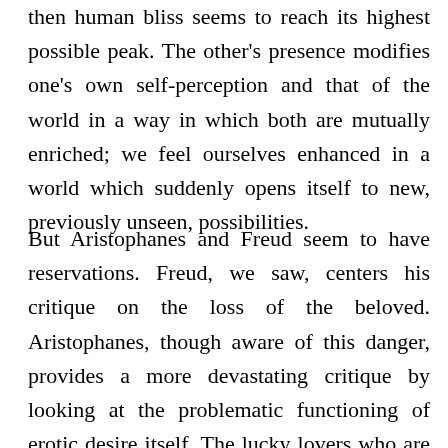then human bliss seems to reach its highest possible peak. The other's presence modifies one's own self-perception and that of the world in a way in which both are mutually enriched; we feel ourselves enhanced in a world which suddenly opens itself to new, previously unseen, possibilities.
But Aristophanes and Freud seem to have reservations. Freud, we saw, centers his critique on the loss of the beloved. Aristophanes, though aware of this danger, provides a more devastating critique by looking at the problematic functioning of erotic desire itself. The lucky lovers who are finally able to reach each other, presumably following several painful misses and rather